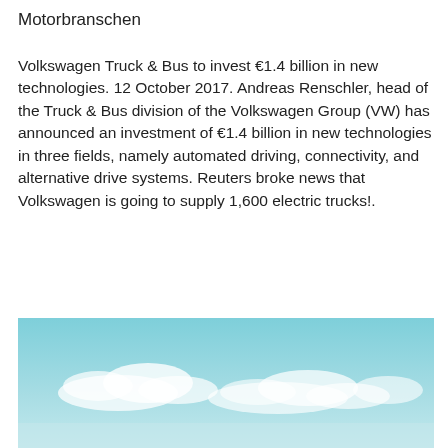Motorbranschen
Volkswagen Truck & Bus to invest €1.4 billion in new technologies. 12 October 2017. Andreas Renschler, head of the Truck & Bus division of the Volkswagen Group (VW) has announced an investment of €1.4 billion in new technologies in three fields, namely automated driving, connectivity, and alternative drive systems. Reuters broke news that Volkswagen is going to supply 1,600 electric trucks!.
[Figure (photo): Photograph of sky with clouds, light blue tones, partial view of a vehicle or structure at the bottom edge.]